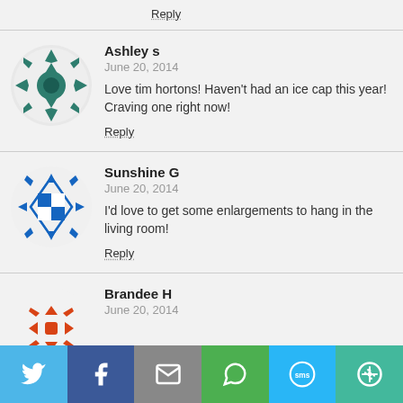Reply
Ashley s
June 20, 2014
Love tim hortons! Haven't had an ice cap this year! Craving one right now!
Reply
Sunshine G
June 20, 2014
I'd love to get some enlargements to hang in the living room!
Reply
Brandee H
June 20, 2014
[Figure (screenshot): Social sharing bar with Twitter, Facebook, Email, WhatsApp, SMS, and other icons]